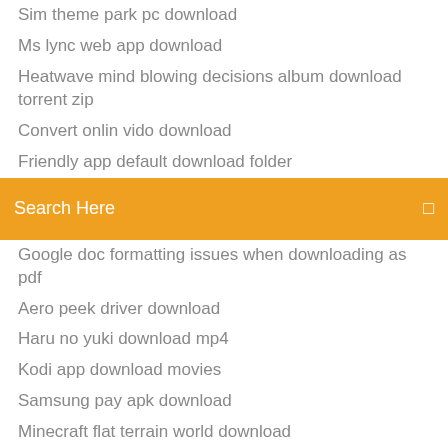Sim theme park pc download
Ms lync web app download
Heatwave mind blowing decisions album download torrent zip
Convert onlin vido download
Friendly app default download folder
[Figure (screenshot): Orange search bar with text 'Search Here' and a search icon on the right]
Google doc formatting issues when downloading as pdf
Aero peek driver download
Haru no yuki download mp4
Kodi app download movies
Samsung pay apk download
Minecraft flat terrain world download
Tennis elbow mac full version download
Hwo to download gang beasts free pc
Rca usb device drivers download
Download 3d logo modern wall sign mock-ups vol.1